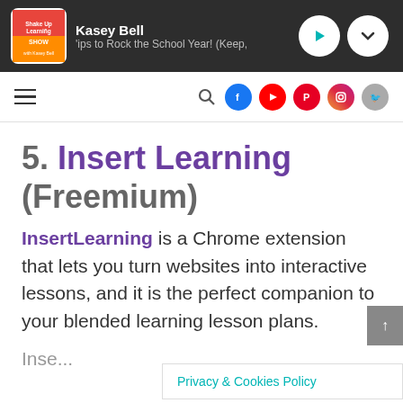Kasey Bell — 'ips to Rock the School Year! (Keep,'
[Figure (screenshot): Website navigation bar with hamburger menu, search icon, and social media icons (Facebook, YouTube, Pinterest, Instagram, Twitter)]
5. Insert Learning (Freemium)
InsertLearning is a Chrome extension that lets you turn websites into interactive lessons, and it is the perfect companion to your blended learning lesson plans.